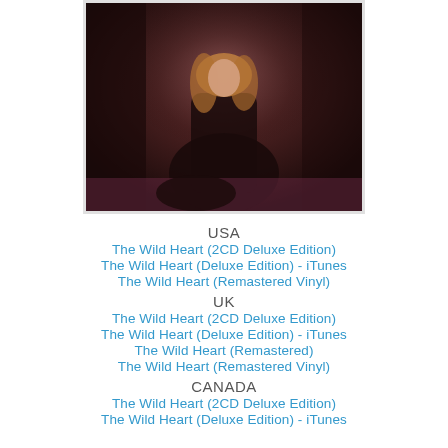[Figure (photo): Album cover photo of a person with long blonde hair wearing a black outfit, seated against a dark draped background with warm reddish-brown tones.]
USA
The Wild Heart (2CD Deluxe Edition)
The Wild Heart (Deluxe Edition) - iTunes
The Wild Heart (Remastered Vinyl)
UK
The Wild Heart (2CD Deluxe Edition)
The Wild Heart (Deluxe Edition) - iTunes
The Wild Heart (Remastered)
The Wild Heart (Remastered Vinyl)
CANADA
The Wild Heart (2CD Deluxe Edition)
The Wild Heart (Deluxe Edition) - iTunes